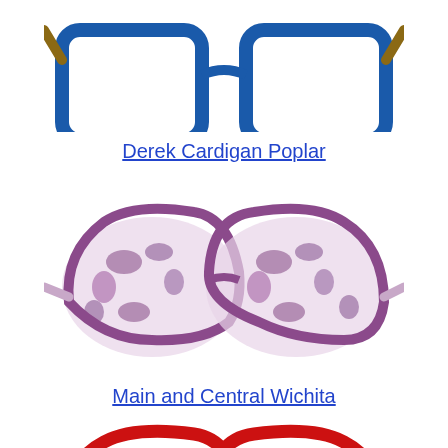[Figure (photo): Blue rectangular eyeglass frames partially cropped at top of page, with tortoiseshell temple arms visible]
Derek Cardigan Poplar
[Figure (photo): Purple/lavender tortoiseshell cat-eye eyeglass frames centered on white background]
Main and Central Wichita
[Figure (photo): Red cat-eye style eyeglass frames partially cropped at bottom of page]